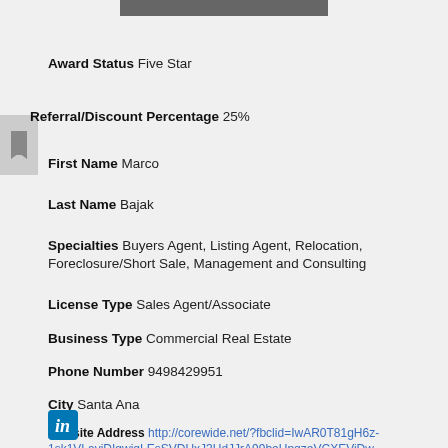[Figure (photo): Partial photo at top of page (cropped profile photo)]
Award Status  Five Star
Referral/Discount Percentage  25%
First Name  Marco
Last Name  Bajak
Specialties  Buyers Agent, Listing Agent, Relocation, Foreclosure/Short Sale, Management and Consulting
License Type  Sales Agent/Associate
Business Type  Commercial Real Estate
Phone Number  9498429951
City  Santa Ana
Website Address  http://corewide.net/?fbclid=IwAR0T81gH6z-1sk1VLaviDIgwiqLEsSVDUxJ3UdJJrA99beUpqzeVCXEViDw
[Figure (logo): LinkedIn icon button]